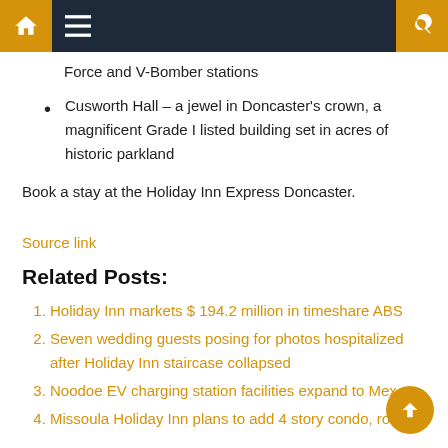[Navigation bar with home, menu, and search icons]
Force and V-Bomber stations
Cusworth Hall – a jewel in Doncaster's crown, a magnificent Grade I listed building set in acres of historic parkland
Book a stay at the Holiday Inn Express Doncaster.
Source link
Related Posts:
Holiday Inn markets $ 194.2 million in timeshare ABS
Seven wedding guests posing for photos hospitalized after Holiday Inn staircase collapsed
Noodoe EV charging station facilities expand to Mex…
Missoula Holiday Inn plans to add 4 story condo, rooftop